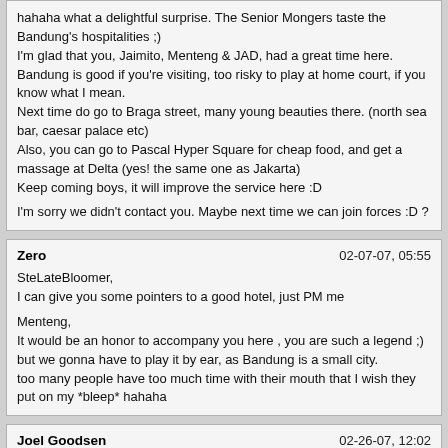hahaha what a delightful surprise. The Senior Mongers taste the Bandung's hospitalities ;)
I'm glad that you, Jaimito, Menteng & JAD, had a great time here.
Bandung is good if you're visiting, too risky to play at home court, if you know what I mean.
Next time do go to Braga street, many young beauties there. (north sea bar, caesar palace etc)
Also, you can go to Pascal Hyper Square for cheap food, and get a massage at Delta (yes! the same one as Jakarta)
Keep coming boys, it will improve the service here :D

I'm sorry we didn't contact you. Maybe next time we can join forces :D ?
Zero | 02-07-07, 05:55

SteLateBloomer,
I can give you some pointers to a good hotel, just PM me

Menteng,
It would be an honor to accompany you here , you are such a legend ;)
but we gonna have to play it by ear, as Bandung is a small city.
too many people have too much time with their mouth that I wish they put on my *bleep* hahaha
Joel Goodsen | 02-26-07, 12:02

Me too - I hope to be able to pay Bandung a visit this year, well before June, if I get lucky. Otherwise I'll be patient and wait just a little bit more..

Doing some "homework" and reading the thread, I was hopeful to locate some info on my hobby, mall hunting, but unfortunately it returned meager results - Adindas post mentions Bandung Indah Plaza (BIP) as a place for pick ups.

So the question is, would some of the esteemed members be able to give me a few gentle pointers in the right direction for mall hunting in Bandung? - My own info on Bandung is quite old, stemming from the time I was still an innocent